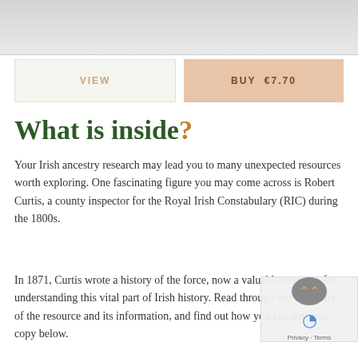[Figure (photo): Partial top image, appears to be a book or document cover, cropped at top of page]
VIEW
BUY  €7.70
What is inside?
Your Irish ancestry research may lead you to many unexpected resources worth exploring. One fascinating figure you may come across is Robert Curtis, a county inspector for the Royal Irish Constabulary (RIC) during the 1800s.
In 1871, Curtis wrote a history of the force, now a valuable resource for understanding this vital part of Irish history. Read through our summary of the resource and its information, and find out how you can get your copy below.